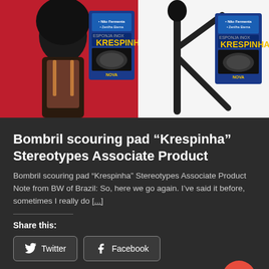[Figure (photo): Two-panel composite image on red/white background showing product packaging labeled 'Krespinha' by Bombril (a scouring pad), alongside a silhouette of a Black woman and a cartoon figure]
Bombril scouring pad “Krespinha” Stereotypes Associate Product
Bombril scouring pad “Krespinha” Stereotypes Associate Product Note from BW of Brazil: So, here we go again. I’ve said it before, sometimes I really do [...]
Share this:
Twitter
Facebook
PLEASE SUPPORT THE CAUSE WITH A SMALL DONATION
Like